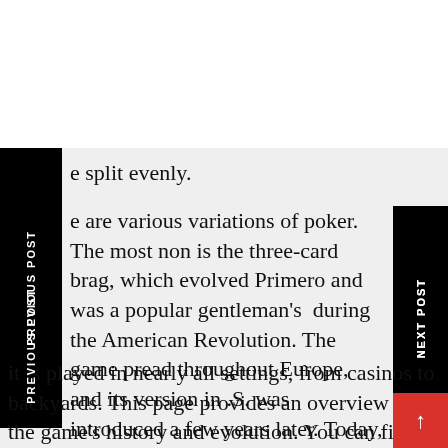e split evenly.
e are various variations of poker. The most non is the three-card brag, which evolved Primero and was a popular gentleman's  during the American Revolution. The game pread throughout Europe, and its version in .S. was introduced a few years later. Today, it is played in nearly all settings, from casinos to backyards. This page provides an overview of the game's history and evolution. You can find a poker game near you by searching for it on the Internet.
PREVIOUS POST
NEXT POST